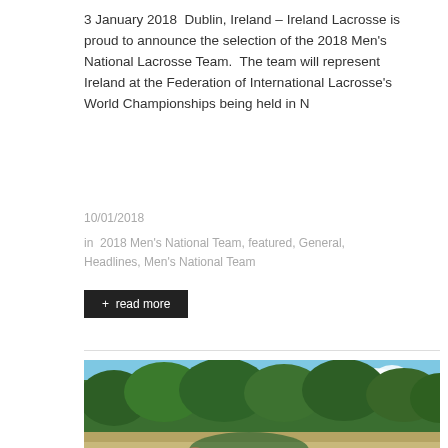3 January 2018  Dublin, Ireland – Ireland Lacrosse is proud to announce the selection of the 2018 Men's National Lacrosse Team.  The team will represent Ireland at the Federation of International Lacrosse's World Championships being held in N
10/01/2018
in  2018 Men's National Team, featured, General, Headlines, Men's National Team
+ read more
[Figure (photo): Group of lacrosse players in green jerseys huddled together on a sports field with trees in the background on a sunny day.]